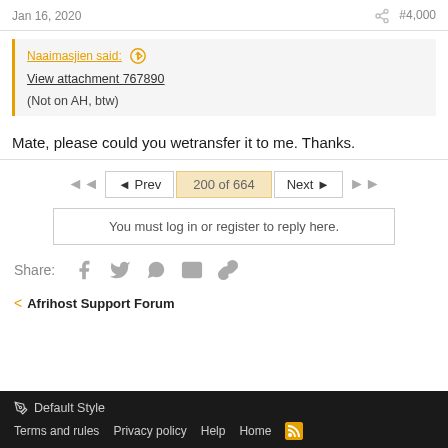Jan 16, 2020   #4,000
Naaimasjien said: ↑
View attachment 767890
(Not on AH, btw)
Mate, please could you wetransfer it to me. Thanks.
◄◄  ◄ Prev   200 of 664   Next ►  ►►
You must log in or register to reply here.
Share:
< Afrihost Support Forum
Default Style
Terms and rules  Privacy policy  Help  Home  [RSS]